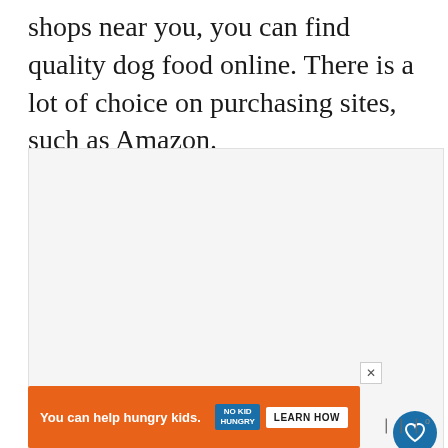shops near you, you can find quality dog food online. There is a lot of choice on purchasing sites, such as Amazon.
[Figure (screenshot): A light gray content area placeholder with social interaction buttons (heart/like, count of 13, share) on the right side, a 'What's Next' thumbnail card showing an American Bully dog, and three pagination dots.]
[Figure (infographic): An orange advertisement banner reading 'You can help hungry kids.' with a No Kid Hungry logo and a 'Learn How' button. An X close button is visible at the top right of the banner.]